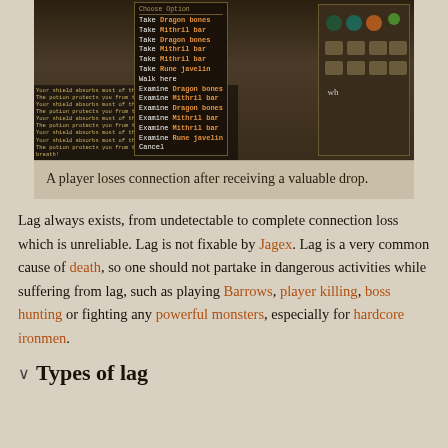[Figure (screenshot): A RuneScape game screenshot showing a context menu with options like 'Take Dragon bones', 'Take Mithril bar', 'Examine' items, and 'Cancel'. Inventory items visible on the right side. Chat log visible on the left with messages about shield and potion effects.]
A player loses connection after receiving a valuable drop.
Lag always exists, from undetectable to complete connection loss which is unreliable. Lag is not fixable by Jagex. Lag is a very common cause of death, so one should not partake in dangerous activities while suffering from lag, such as playing Barrows, player killing, boss hunting or fighting any powerful monsters, especially for hardcore ironmen.
Types of lag